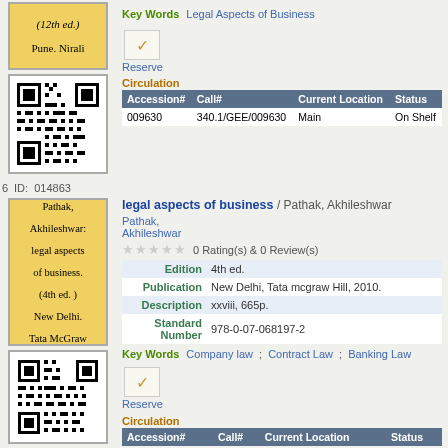(12th ed.) Pune. Nirali
[Figure (other): QR code for book 5]
Key Words  Legal Aspects of Business
Reserve
Circulation
| Accession# | Call# | Current Location | Status |
| --- | --- | --- | --- |
| 009630 | 340.1/GEE/009630 | Main | On Shelf |
6  ID:  014863
Pathak, Akhileshwar: legal aspects of business. (4th ed.) New Delhi. Tata McGraw
[Figure (other): QR code for book 6]
legal aspects of business / Pathak, Akhileshwar
Pathak, Akhileshwar
0 Rating(s) & 0 Review(s)
| Field | Value |
| --- | --- |
| Edition | 4th ed. |
| Publication | New Delhi, Tata mcgraw Hill, 2010. |
| Description | xxviii, 665p. |
| Standard Number | 978-0-07-068197-2 |
Key Words  Company law  ;  Contract Law  ;  Banking Law
Reserve
Circulation
| Accession# | Call# | Current Location | Status |
| --- | --- | --- | --- |